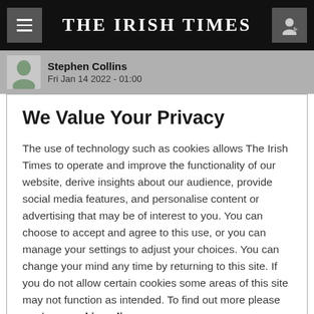THE IRISH TIMES
Stephen Collins
Fri Jan 14 2022 - 01:00
We Value Your Privacy
The use of technology such as cookies allows The Irish Times to operate and improve the functionality of our website, derive insights about our audience, provide social media features, and personalise content or advertising that may be of interest to you. You can choose to accept and agree to this use, or you can manage your settings to adjust your choices. You can change your mind any time by returning to this site. If you do not allow certain cookies some areas of this site may not function as intended. To find out more please read our cookie policy